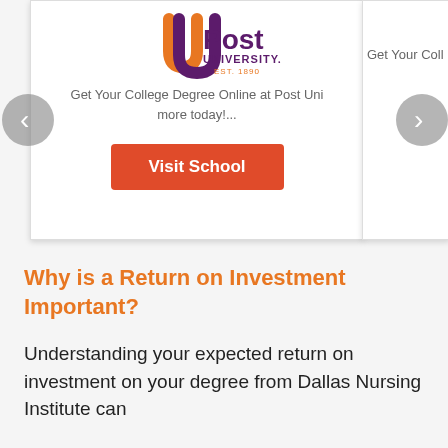[Figure (logo): Post University logo with orange and purple 'U' mark and 'Post UNIVERSITY. EST. 1890' text]
Get Your College Degree Online at Post Uni... more today!...
Get Your Coll...
Visit School
Why is a Return on Investment Important?
Understanding your expected return on investment on your degree from Dallas Nursing Institute can